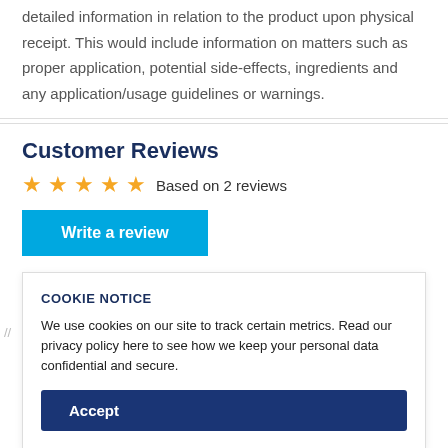detailed information in relation to the product upon physical receipt. This would include information on matters such as proper application, potential side-effects, ingredients and any application/usage guidelines or warnings.
Customer Reviews
★★★★★ Based on 2 reviews
Write a review
COOKIE NOTICE
We use cookies on our site to track certain metrics. Read our privacy policy here to see how we keep your personal data confidential and secure.
Accept
You may also like